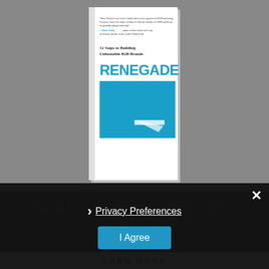[Figure (illustration): Book cover of 'Renegade Marketing: 12 Steps to Building Unbeatable B2B Brands' by Drew Neisser, with foreword by Brent Adamson. The cover features 'RENEGADE' in large teal text and 'MARKETING' mirrored/inverted below it, against a white and teal background. A saw/tool graphic appears in the center.]
RENEGADE MARKETING
12 Steps to Building Unbeatable B2B Brands
Privacy Preferences
I Agree
EARN MORE